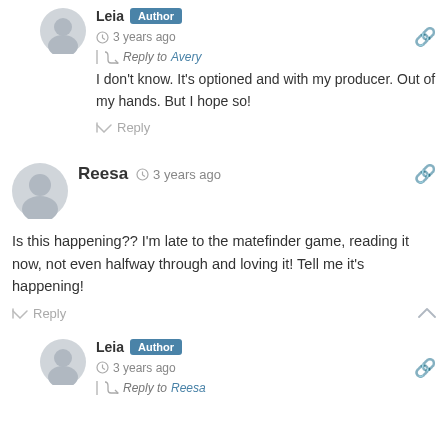Leia · Author · 3 years ago · Reply to Avery · I don't know. It's optioned and with my producer. Out of my hands. But I hope so! · Reply
Reesa · 3 years ago · Is this happening?? I'm late to the matefinder game, reading it now, not even halfway through and loving it! Tell me it's happening! · Reply
Leia · Author · 3 years ago · Reply to Reesa